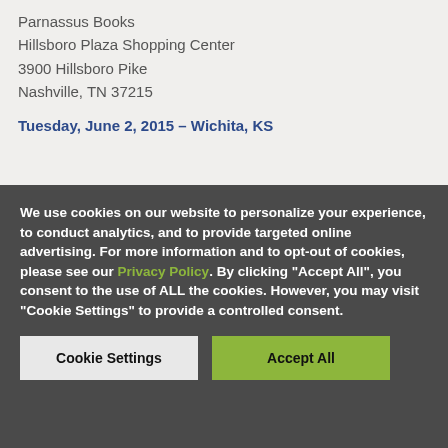Parnassus Books
Hillsboro Plaza Shopping Center
3900 Hillsboro Pike
Nashville, TN 37215
Tuesday, June 2, 2015 – Wichita, KS
We use cookies on our website to personalize your experience, to conduct analytics, and to provide targeted online advertising. For more information and to opt-out of cookies, please see our Privacy Policy. By clicking "Accept All", you consent to the use of ALL the cookies. However, you may visit "Cookie Settings" to provide a controlled consent.
Cookie Settings
Accept All